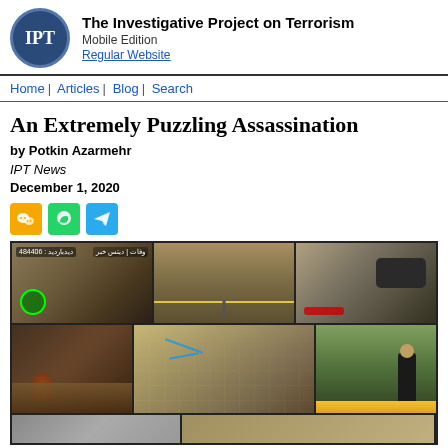The Investigative Project on Terrorism | Mobile Edition | Regular Website
Home | Articles | Blog | Search
An Extremely Puzzling Assassination
by Potkin Azarmehr
IPT News
December 1, 2020
[Figure (photo): Composite news photo grid showing 6 images related to assassination: surveillance footage with Arabic text and view count 484406, road scene with figures, damaged car with blood on road, debris with fire, aerial satellite view, and portrait of man in suit]
[Figure (other): Social media share icons: WeChat (orange), WhatsApp (green), Telegram (blue)]